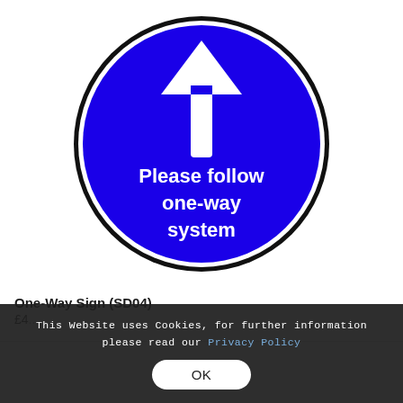[Figure (illustration): Blue circular mandatory sign with white upward arrow and text reading 'Please follow one-way system']
One-Way Sign (SD04)
£4...
This Website uses Cookies, for further information please read our Privacy Policy
OK